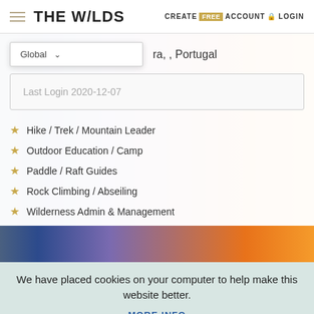THE W/LDS | CREATE FREE ACCOUNT 🔒 LOGIN
Global ▾  ra, , Portugal
Last Login 2020-12-07
Hike / Trek / Mountain Leader
Outdoor Education / Camp
Paddle / Raft Guides
Rock Climbing / Abseiling
Wilderness Admin & Management
We have placed cookies on your computer to help make this website better.
MORE INFO
ACCEPT & CLOSE